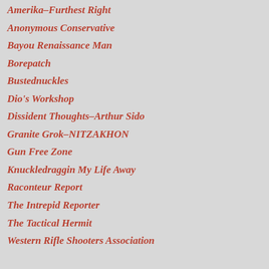Amerika–Furthest Right
Anonymous Conservative
Bayou Renaissance Man
Borepatch
Bustednuckles
Dio's Workshop
Dissident Thoughts–Arthur Sido
Granite Grok–NITZAKHON
Gun Free Zone
Knuckledraggin My Life Away
Raconteur Report
The Intrepid Reporter
The Tactical Hermit
Western Rifle Shooters Association